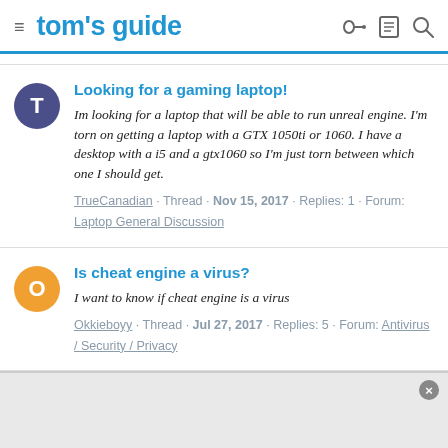tom's guide
Looking for a gaming laptop!
Im looking for a laptop that will be able to run unreal engine. I'm torn on getting a laptop with a GTX 1050ti or 1060. I have a desktop with a i5 and a gtx1060 so I'm just torn between which one I should get.
TrueCanadian · Thread · Nov 15, 2017 · Replies: 1 · Forum: Laptop General Discussion
Is cheat engine a virus?
I want to know if cheat engine is a virus
Okkieboyy · Thread · Jul 27, 2017 · Replies: 5 · Forum: Antivirus / Security / Privacy